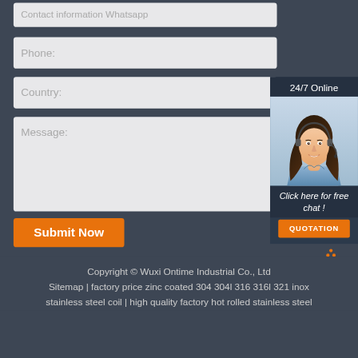Contact information Whatsapp
Phone:
Country:
Message:
24/7 Online
[Figure (photo): Customer service representative wearing a headset, smiling]
Click here for free chat !
QUOTATION
Submit Now
[Figure (other): Back to top arrow icon in orange dots]
Copyright © Wuxi Ontime Industrial Co., Ltd
Sitemap | factory price zinc coated 304 304l 316 316l 321 inox stainless steel coil | high quality factory hot rolled stainless steel